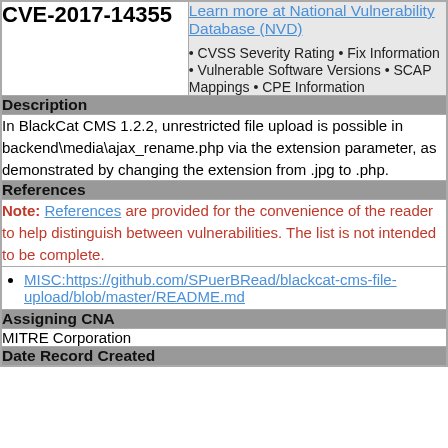| CVE-2017-14355 | Learn more at National Vulnerability Database (NVD)
• CVSS Severity Rating • Fix Information • Vulnerable Software Versions • SCAP Mappings • CPE Information |
| Description |  |
| In BlackCat CMS 1.2.2, unrestricted file upload is possible in backend\media\ajax_rename.php via the extension parameter, as demonstrated by changing the extension from .jpg to .php. |  |
| References |  |
| Note: References are provided for the convenience of the reader to help distinguish between vulnerabilities. The list is not intended to be complete. |  |
| MISC:https://github.com/SPuerBRead/blackcat-cms-file-upload/blob/master/README.md |  |
| Assigning CNA |  |
| MITRE Corporation |  |
| Date Record Created |  |